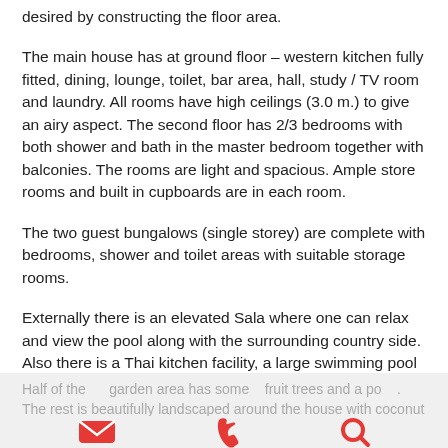desired by constructing the floor area.
The main house has at ground floor – western kitchen fully fitted, dining, lounge, toilet, bar area, hall, study / TV room and laundry. All rooms have high ceilings (3.0 m.) to give an airy aspect. The second floor has 2/3 bedrooms with both shower and bath in the master bedroom together with balconies. The rooms are light and spacious. Ample store rooms and built in cupboards are in each room.
The two guest bungalows (single storey) are complete with bedrooms, shower and toilet areas with suitable storage rooms.
Externally there is an elevated Sala where one can relax and view the pool along with the surrounding country side. Also there is a Thai kitchen facility, a large swimming pool with deck surround and a covered double car port all in keeping with the style of the other buildings.
Half of the garden area has some fruit trees and a pond. The rest is beautifully landscaped around the house with coconut trees with two or fish ponds...